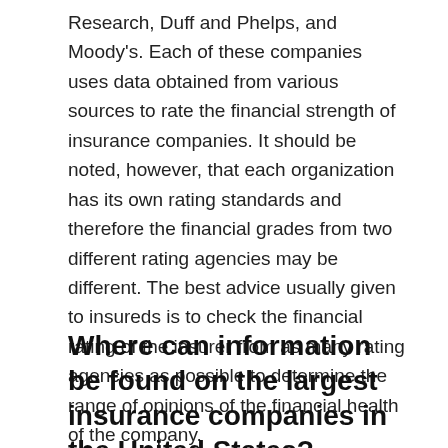Research, Duff and Phelps, and Moody's. Each of these companies uses data obtained from various sources to rate the financial strength of insurance companies. It should be noted, however, that each organization has its own rating standards and therefore the financial grades from two different rating agencies may be different. The best advice usually given to insureds is to check the financial rating of the insurer from as many rating agencies as possible to determine the range of opinions of the financial health of the company.
Where can information be found on the largest insurance companies in the United States?